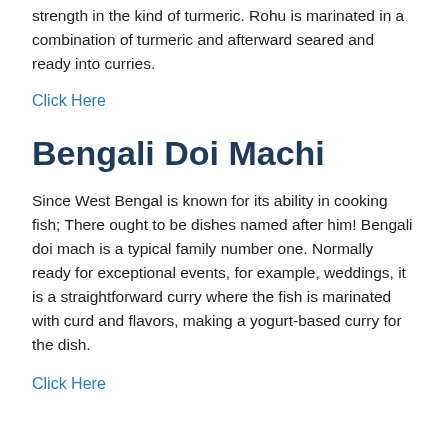strength in the kind of turmeric. Rohu is marinated in a combination of turmeric and afterward seared and ready into curries.
Click Here
Bengali Doi Machi
Since West Bengal is known for its ability in cooking fish; There ought to be dishes named after him! Bengali doi mach is a typical family number one. Normally ready for exceptional events, for example, weddings, it is a straightforward curry where the fish is marinated with curd and flavors, making a yogurt-based curry for the dish.
Click Here